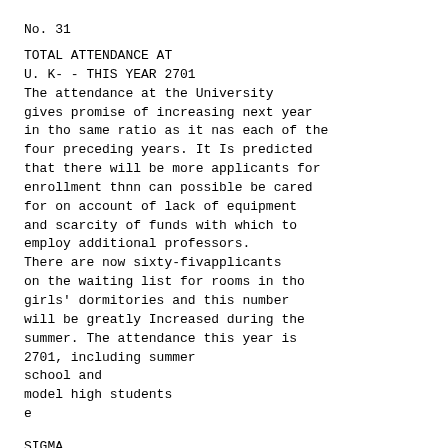No. 31
TOTAL ATTENDANCE AT
U. K- - THIS YEAR 2701
The attendance at the University
gives promise of increasing next year
in tho same ratio as it nas each of the
four preceding years. It Is predicted
that there will be more applicants for
enrollment thnn can possible be cared
for on account of lack of equipment
and scarcity of funds with which to
employ additional professors.
There are now sixty-fivapplicants
on the waiting list for rooms in tho
girls' dormitories and this number
will be greatly Increased during the
summer. The attendance this year is
2701, including summer
school and
model high students
e
SIGMA
XI
SERVICES